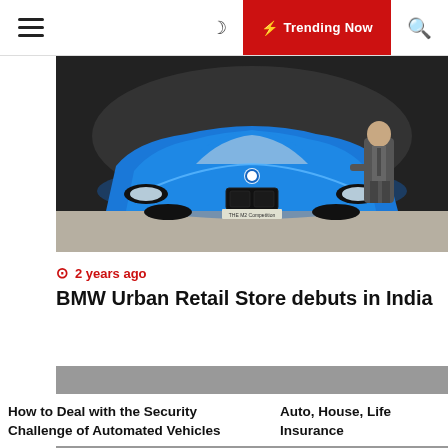≡  🌙  ⚡ Trending Now  🔍
[Figure (photo): A blue BMW M2 Competition sports car in a showroom with a man in a suit standing beside it]
⏱ 2 years ago
BMW Urban Retail Store debuts in India
[Figure (photo): Gray placeholder image for a second article]
How to Deal with the Security Challenge of Automated Vehicles
Auto, House, Life Insurance